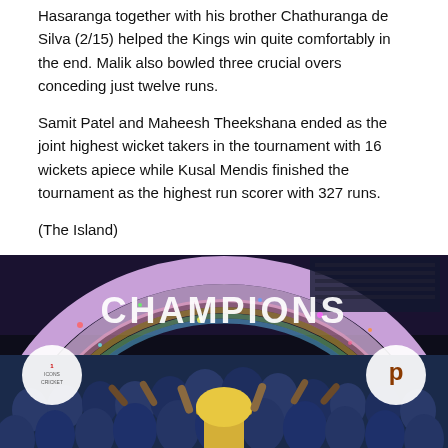Hasaranga together with his brother Chathuranga de Silva (2/15) helped the Kings win quite comfortably in the end. Malik also bowled three crucial overs conceding just twelve runs.
Samit Patel and Maheesh Theekshana ended as the joint highest wicket takers in the tournament with 16 wickets apiece while Kusal Mendis finished the tournament as the highest run scorer with 327 runs.
(The Island)
[Figure (photo): Cricket team celebrating championship win under a CHAMPIONS arch banner. Players in blue uniforms holding a trophy, with colorful rainbow arch backdrop and sponsor logos visible.]